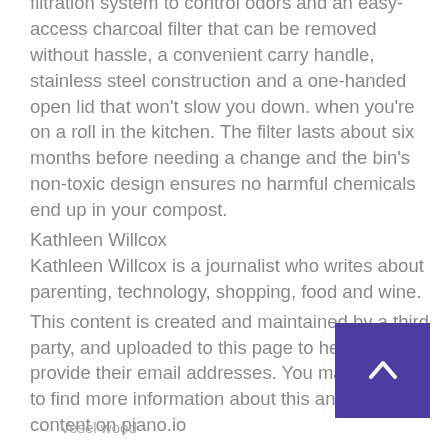filtration system to control odors and an easy-access charcoal filter that can be removed without hassle, a convenient carry handle, stainless steel construction and a one-handed open lid that won't slow you down. when you're on a roll in the kitchen. The filter lasts about six months before needing a change and the bin's non-toxic design ensures no harmful chemicals end up in your compost.
Kathleen Willcox
Kathleen Willcox is a journalist who writes about parenting, technology, shopping, food and wine.
This content is created and maintained by a third party, and uploaded to this page to help users provide their email addresses. You may be able to find more information about this and similar content on piano.io
Advertising – Continue Reading Below
Vesel wood